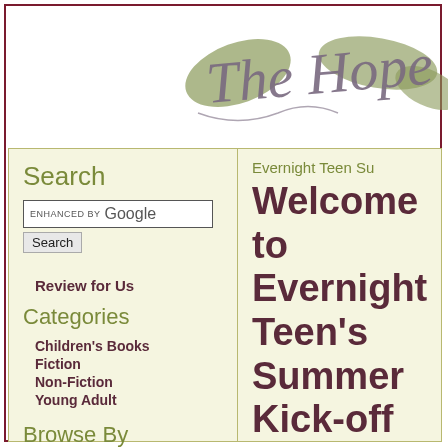[Figure (logo): Decorative script logo reading 'The Hope' with olive green leaf/floral motifs, partially cropped at right edge]
Search
[Figure (screenshot): Search box with 'ENHANCED BY Google' label]
Search
Review for Us
Categories
Children's Books
Fiction
Non-Fiction
Young Adult
Browse By
Titles
Evernight Teen Su
Welcome to Evernight Teen's Summer Kick-off Blog Hop!